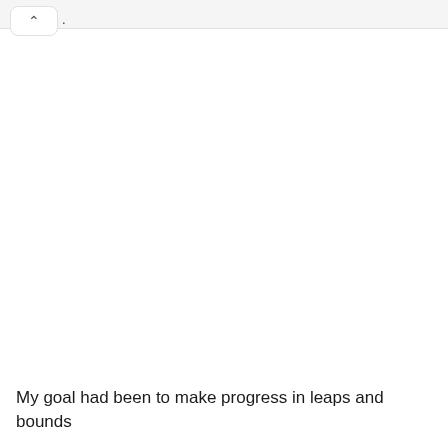.
My goal had been to make progress in leaps and bounds